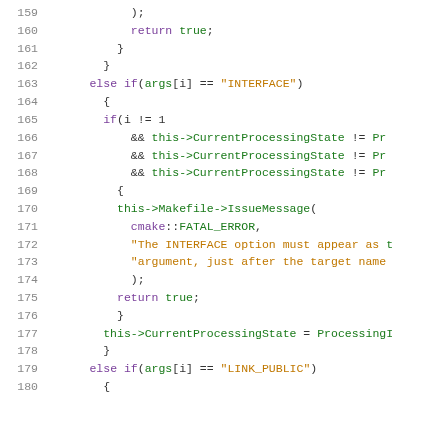Source code listing lines 159-180, C++ CMake implementation code